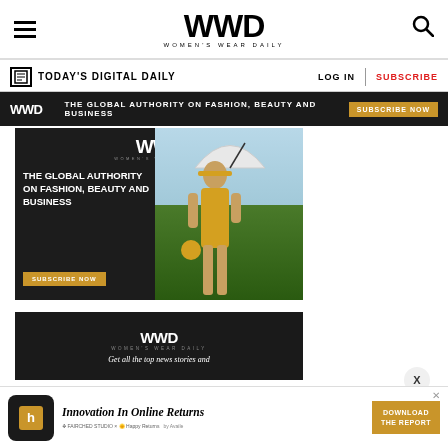WWD — Women's Wear Daily — navigation header with hamburger menu, logo, and search icon
TODAY'S DIGITAL DAILY | LOG IN | SUBSCRIBE
[Figure (advertisement): WWD dark banner ad: 'THE GLOBAL AUTHORITY ON FASHION, BEAUTY AND BUSINESS' with 'SUBSCRIBE NOW' button]
[Figure (advertisement): Large WWD subscription ad with woman in yellow outfit holding umbrella, text: 'THE GLOBAL AUTHORITY ON FASHION, BEAUTY AND BUSINESS' and 'SUBSCRIBE NOW' button]
[Figure (advertisement): Second WWD dark ad with logo and tagline 'Get all the top news stories and...']
[Figure (advertisement): Bottom banner ad: 'Innovation In Online Returns' with Happy Returns branding and 'DOWNLOAD THE REPORT' button]